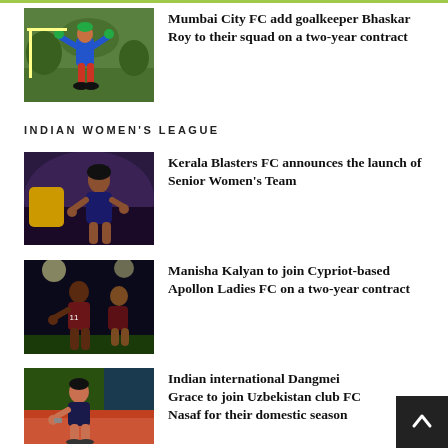[Figure (photo): Goalkeeper in blue jersey making a kick, red pants, outdoor setting with trees]
Mumbai City FC add goalkeeper Bhaskar Roy to their squad on a two-year contract
INDIAN WOMEN'S LEAGUE
[Figure (photo): Female footballer in dark jersey running/dribbling, dramatic lighting]
Kerala Blasters FC announces the launch of Senior Women's Team
[Figure (photo): Female footballers in dark red jerseys celebrating, night match setting]
Manisha Kalyan to join Cypriot-based Apollon Ladies FC on a two-year contract
[Figure (photo): Young female footballer in dark jersey running on track, outdoor daytime]
Indian international Dangmei Grace to join Uzbekistan club FC Nasaf for their domestic season